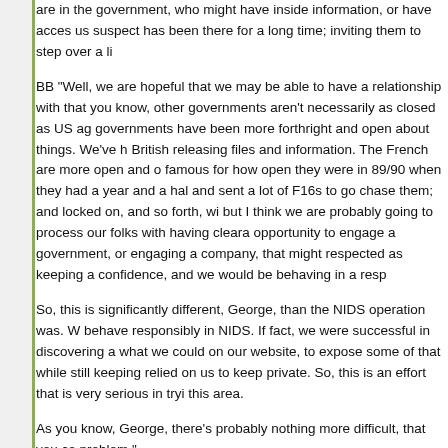are in the government, who might have inside information, or have access to material that leads us suspect has been there for a long time; inviting them to step over a line...
BB "Well, we are hopeful that we may be able to have a relationship with other governments; that you know, other governments aren't necessarily as closed as US agencies. Other governments have been more forthright and open about things. We've had... the British releasing files and information. The French are more open and of course are famous for how open they were in 89/90 when they had a year and a half of sightings and sent a lot of F16s to go chase them; and locked on, and so forth, with radar. So, but I think we are probably going to process our folks with having clearance that have the opportunity to engage a government, or engaging a company, that might have information respected as keeping a confidence, and we would be behaving in a responsibly..."
So, this is significantly different, George, than the NIDS operation was. We tried to behave responsibly in NIDS. If fact, we were successful in discovering a lot and putting what we could on our website, to expose some of that while still keeping what people relied on us to keep private. So, this is an effort that is very serious in trying to address this area.
As you know, George, there's probably nothing more difficult, that you could... this problem."
GK "Our friend and colleague Stan Friedman sent me an email as a news item, at the beginning that you might find it interesting. There is some kind of conference on Extra-terrestrial Intelligence, and is underway in Europe, I guess there..."